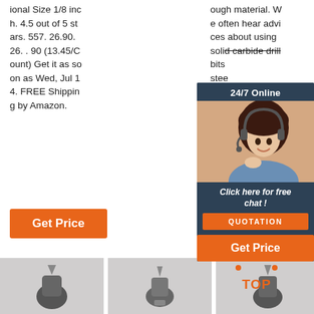ional Size 1/8 inch. 4.5 out of 5 stars. 557. 26.90. 26. . 90 (13.45/Count) Get it as soon as Wed, Jul 14. FREE Shipping by Amazon.
ough material. We often hear advices about using solid carbide drill bits steel Ise balt ard ess
[Figure (screenshot): Live chat widget overlay showing a woman with headset, '24/7 Online' header, 'Click here for free chat!' text, and QUOTATION button]
[Figure (other): Get Price orange button (left column)]
[Figure (other): Get Price orange button (right column)]
[Figure (photo): Bottom row of three drill bit product photos on white/gray background]